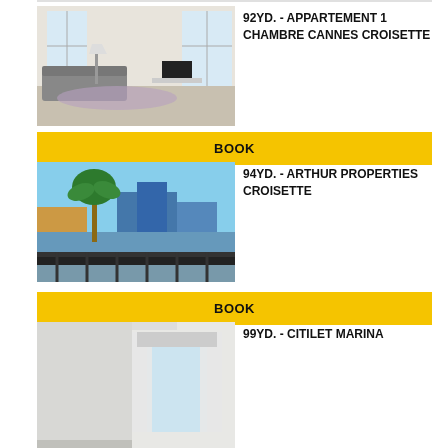[Figure (photo): Interior photo of a modern apartment living room with sofa, TV, and large windows — 92YD. listing]
92YD. - APPARTEMENT 1 CHAMBRE CANNES CROISETTE
BOOK
[Figure (photo): Exterior photo showing a city square with palm trees and harbor view — 94YD. listing]
94YD. - ARTHUR PROPERTIES CROISETTE
BOOK
[Figure (photo): Interior photo of a bright apartment room with curtains — 99YD. listing]
99YD. - CITILET MARINA